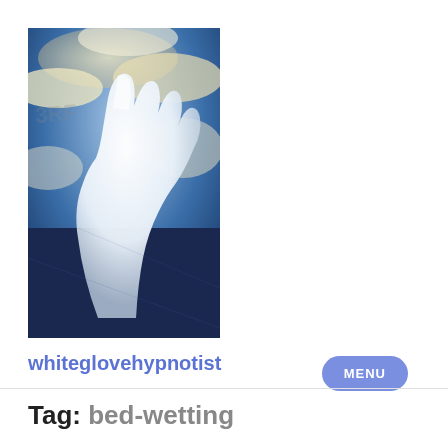[Figure (photo): A white gloved hand against a sky with clouds background, taken from a low angle. The image has a dreamy, slightly overexposed look with blue sky and white/golden clouds.]
MENU
whiteglovehypnotist
Tag: bed-wetting